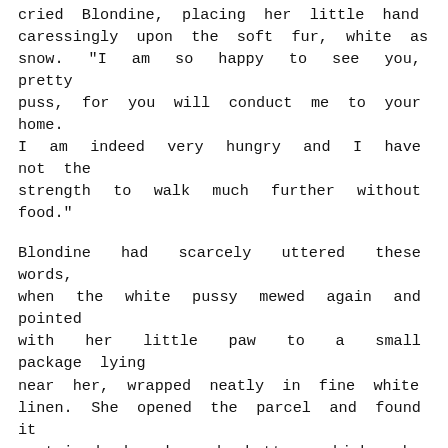cried Blondine, placing her little hand caressingly upon the soft fur, white as snow. "I am so happy to see you, pretty puss, for you will conduct me to your home. I am indeed very hungry and I have not the strength to walk much further without food."
Blondine had scarcely uttered these words, when the white pussy mewed again and pointed with her little paw to a small package lying near her, wrapped neatly in fine white linen. She opened the parcel and found it contained bread and butter which she found delicious. She gave the crumbs to pussy, who munched them with seeming delight.
When they had finished their simple meal, Blondine leaned over towards her little companion, and said, caressingly:
"Thanks, pretty puss, for the breakfast you have given me. Now, can you conduct me to my papa, who is certainly in despair because of